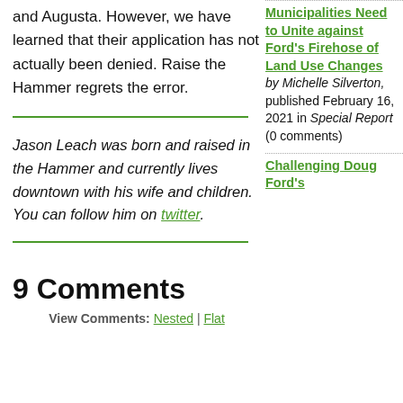and Augusta. However, we have learned that their application has not actually been denied. Raise the Hammer regrets the error.
Jason Leach was born and raised in the Hammer and currently lives downtown with his wife and children. You can follow him on twitter.
9 Comments
View Comments: Nested | Flat
Municipalities Need to Unite against Ford's Firehose of Land Use Changes
by Michelle Silverton, published February 16, 2021 in Special Report (0 comments)
Challenging Doug Ford's